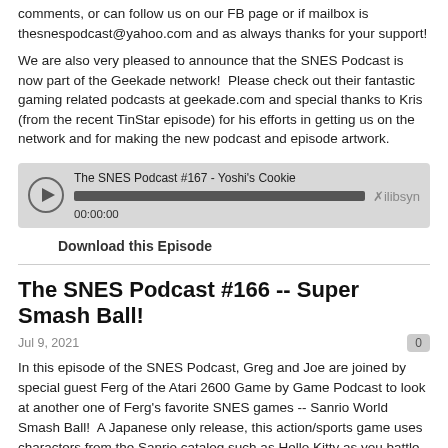comments, or can follow us on our FB page or if mailbox is thesnespodcast@yahoo.com and as always thanks for your support!
We are also very pleased to announce that the SNES Podcast is now part of the Geekade network!  Please check out their fantastic gaming related podcasts at geekade.com and special thanks to Kris (from the recent TinStar episode) for his efforts in getting us on the network and for making the new podcast and episode artwork.
[Figure (other): Audio player widget for 'The SNES Podcast #167 - Yoshi's Cookie' with play button, progress bar, timestamp 00:00:00, and libsyn logo]
Download this Episode
The SNES Podcast #166 -- Super Smash Ball!
Jul 9, 2021
0
In this episode of the SNES Podcast, Greg and Joe are joined by special guest Ferg of the Atari 2600 Game by Game Podcast to look at another one of Ferg's favorite SNES games -- Sanrio World Smash Ball!  A Japanese only release, this action/sports game uses characters from the Sanrio catalog such as Hello Kitty as you battle either against the AI or another human player to get your ball past your foe's defenses and into the goal while protecting yours.  Playing a lot like Pong or Warlords, we talk about the gameplay, the oddity factor of the game, and how it holds up today.  Any